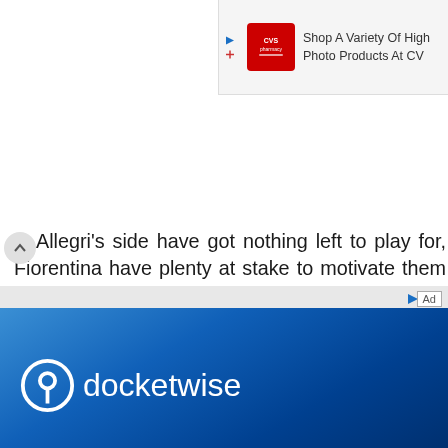[Figure (screenshot): CVS Pharmacy advertisement banner: 'Shop A Variety Of High Photo Products At CV' with CVS logo]
Allegri's side have got nothing left to play for, Fiorentina have plenty at stake to motivate them to go for an all-out attack and claim all three points in front of a packed home crowd this weekend, as a victory for the hosts could see them claim their a top-six finish. Hence, despite their woeful record against the visitors this term, the Hard Tackle predicts La Viola to edge a tacky, end-to-end affair to rubber-stamp a place in Europe.
[Figure (screenshot): Docketwise advertisement banner with blue gradient background and docketwise logo in white]